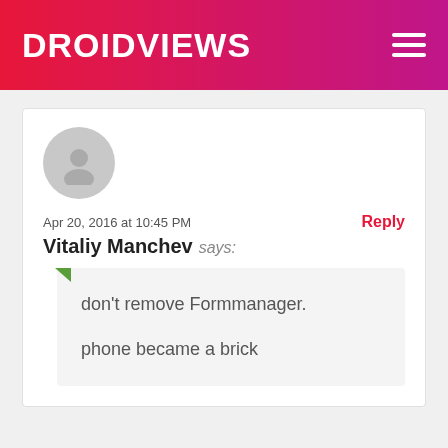DROIDViews
Apr 20, 2016 at 10:45 PM
Reply
Vitaliy Manchev says:
don't remove Formmanager.

phone became a brick